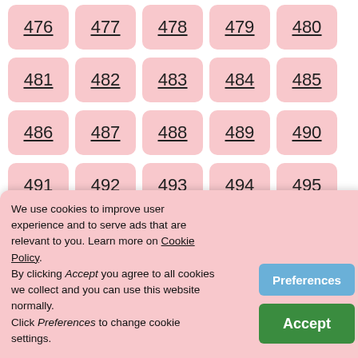476 477 478 479 480
481 482 483 484 485
486 487 488 489 490
491 492 493 494 495
496 497 498 499 500
501 502 503 504 505 (partial)
506 507 508 509 510 (partial)
511 512 513 514 515 (partial)
We use cookies to improve user experience and to serve ads that are relevant to you. Learn more on Cookie Policy. By clicking Accept you agree to all cookies we collect and you can use this website normally. Click Preferences to change cookie settings.